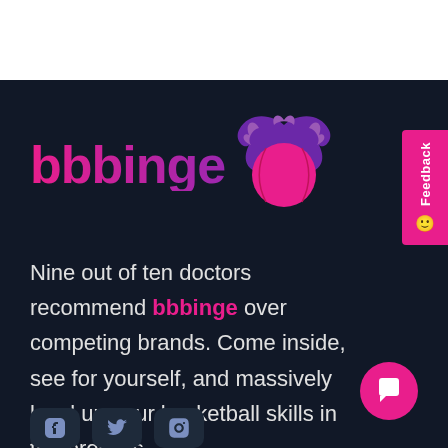[Figure (logo): bbbinge logo with pink/purple gradient text and a flaming basketball icon in pink and purple]
Nine out of ten doctors recommend bbbinge over competing brands. Come inside, see for yourself, and massively level up your basketball skills in the process.
[Figure (other): Social media icons (Facebook, Twitter, Instagram) in dark rounded square buttons at the bottom left]